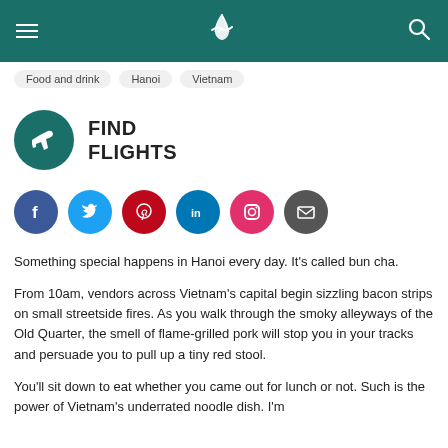Cathay Pacific header with hamburger menu, logo, and search icon
Food and drink
Hanoi
Vietnam
[Figure (logo): Find Flights button with airplane icon in teal circle and bold text FIND FLIGHTS]
[Figure (infographic): Social media icons: Facebook, Twitter, Pinterest, LinkedIn, Instagram, Email]
Something special happens in Hanoi every day. It's called bun cha.
From 10am, vendors across Vietnam's capital begin sizzling bacon strips on small streetside fires. As you walk through the smoky alleyways of the Old Quarter, the smell of flame-grilled pork will stop you in your tracks and persuade you to pull up a tiny red stool.
You'll sit down to eat whether you came out for lunch or not. Such is the power of Vietnam's underrated noodle dish. I'm